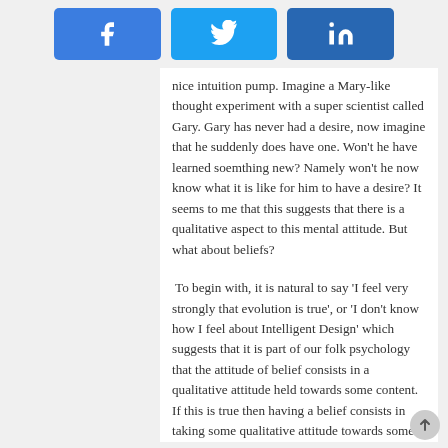[Figure (other): Social sharing buttons: Facebook, Twitter, LinkedIn]
nice intuition pump. Imagine a Mary-like thought experiment with a super scientist called Gary. Gary has never had a desire, now imagine that he suddenly does have one. Won't he have learned soemthing new? Namely won't he now know what it is like for him to have a desire? It seems to me that this suggests that there is a qualitative aspect to this mental attitude. But what about beliefs?
To begin with, it is natural to say 'I feel very strongly that evolution is true', or 'I don't know how I feel about Intelligent Design' which suggests that it is part of our folk psychology that the attitude of belief consists in a qualitative attitude held towards some content. If this is true then having a belief consists in taking some qualitative attitude towards some represented proposition, but what qualitative property? I have